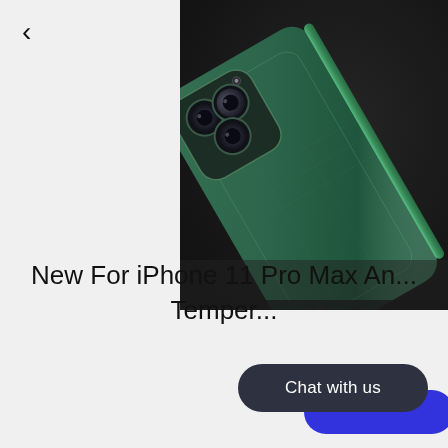<
[Figure (photo): Close-up photo of the back of a dark green iPhone 11 Pro Max showing triple camera system, on a dark surface with a pen beside it]
New For iPhone 11 Pro Max An... Temper...
Chat with us